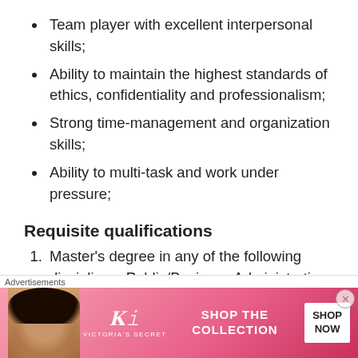Team player with excellent interpersonal skills;
Ability to maintain the highest standards of ethics, confidentiality and professionalism;
Strong time-management and organization skills;
Ability to multi-task and work under pressure;
Requisite qualifications
1. Master's degree in any of the following disciplines: Public/Business Administration, Human Resource Management, Economics,
[Figure (photo): Victoria's Secret advertisement banner showing a woman with curly hair, Victoria's Secret logo, 'SHOP THE COLLECTION' text, and 'SHOP NOW' button on a pink gradient background.]